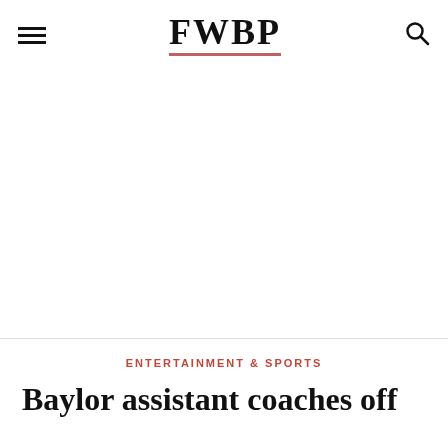FWBP
ENTERTAINMENT & SPORTS
Baylor assistant coaches off